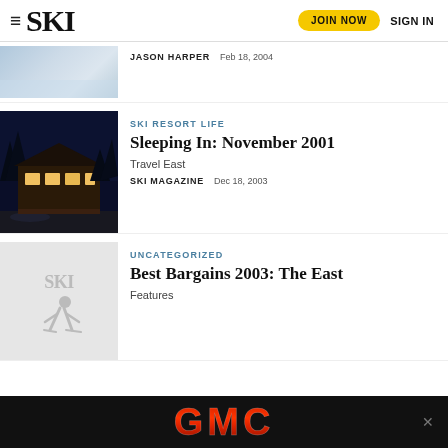≡ SKI | JOIN NOW | SIGN IN
JASON HARPER   Feb 18, 2004
[Figure (photo): Snow/skiing thumbnail image]
SKI RESORT LIFE
Sleeping In: November 2001
Travel East
SKI MAGAZINE   Dec 18, 2003
[Figure (photo): Night time ski lodge/chalet illuminated from within, dark blue sky]
UNCATEGORIZED
Best Bargains 2003: The East
Features
[Figure (photo): SKI magazine placeholder thumbnail with skier silhouette]
[Figure (logo): GMC advertisement banner at bottom]